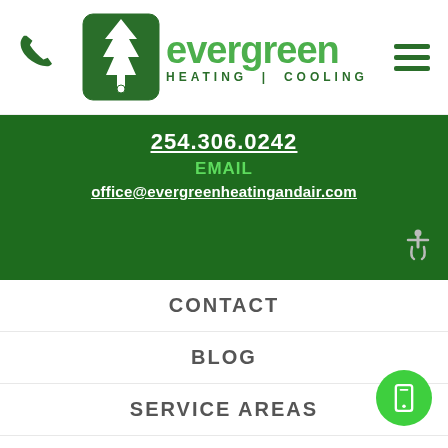[Figure (logo): Evergreen Heating & Cooling logo with tree icon in green rounded rectangle and green text]
254.306.0242
EMAIL
office@evergreenheatingandair.com
CONTACT
BLOG
SERVICE AREAS
PROMOTIONS